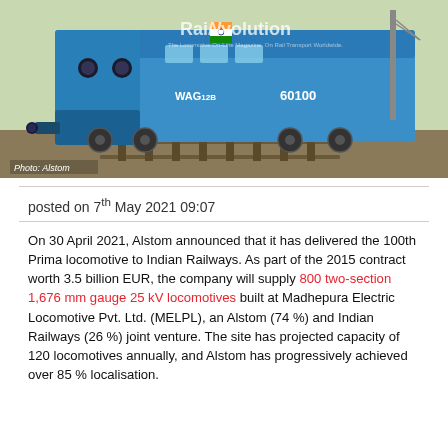[Figure (photo): A blue Alstom Prima WAG12B electric locomotive numbered 60100 on railway tracks, with Indian flag visible on top. Photo credit: Alstom. RaiNvolution watermark visible.]
posted on 7th May 2021 09:07
On 30 April 2021, Alstom announced that it has delivered the 100th Prima locomotive to Indian Railways. As part of the 2015 contract worth 3.5 billion EUR, the company will supply 800 two-section 1,676 mm gauge 25 kV locomotives built at Madhepura Electric Locomotive Pvt. Ltd. (MELPL), an Alstom (74 %) and Indian Railways (26 %) joint venture. The site has projected capacity of 120 locomotives annually, and Alstom has progressively achieved over 85 % localisation.